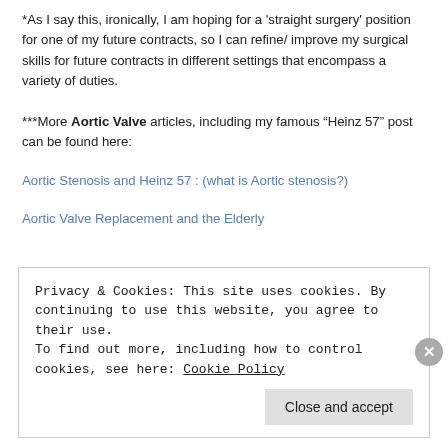*As I say this, ironically, I am hoping for a 'straight surgery' position for one of my future contracts, so I can refine/ improve my surgical skills for future contracts in different settings that encompass a variety of duties.
***More Aortic Valve articles, including my famous “Heinz 57” post can be found here:
Aortic Stenosis and Heinz 57 : (what is Aortic stenosis?)
Aortic Valve Replacement and the Elderly
Privacy & Cookies: This site uses cookies. By continuing to use this website, you agree to their use.
To find out more, including how to control cookies, see here: Cookie Policy